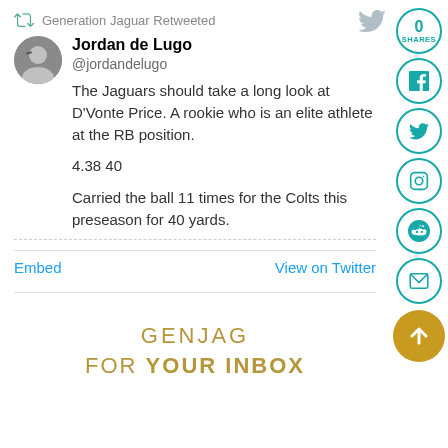Generation Jaguar Retweeted
Jordan de Lugo
@jordandelugo
The Jaguars should take a long look at D'Vonte Price. A rookie who is an elite athlete at the RB position.

4.38 40

Carried the ball 11 times for the Colts this preseason for 40 yards.
Embed   View on Twitter
GENJAG
FOR YOUR INBOX
[Figure (infographic): Social share sidebar with circles: 0 SHARES count, Facebook icon, Twitter bird icon, Instagram icon, Reddit icon, Email/envelope icon, and a gold scroll-up button]